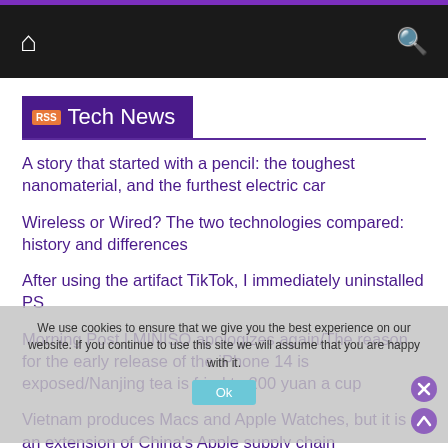Tech News navigation bar with home and search icons
RSS Tech News
A story that started with a pencil: the toughest nanomaterial, and the furthest electric car
Wireless or Wired? The two technologies compared: history and differences
After using the artifact TikTok, I immediately uninstalled PS
Morning Post | MINISO apologizes again/The reason for the early release of the iPhone 14 is exposed/Nanjing tea is fried to 200 yuan a cup
Vietnam produces Macs and Apple Watches, but it is an extension of China's Apple supply chain
Morning Post | iPhone 14 may be released at the same time as Huawei Mate 50 / Tencent executive: There is still room for further cost reduction / Musk denies the acquisition of
We use cookies to ensure that we give you the best experience on our website. If you continue to use this site we will assume that you are happy with it. Ok